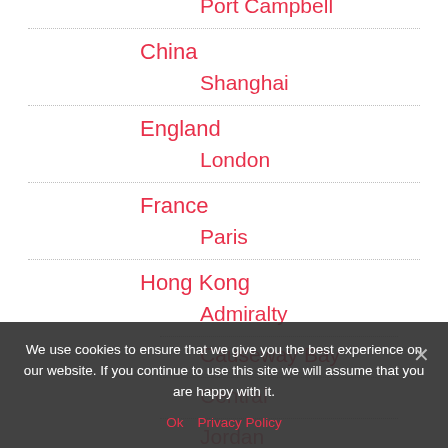Port Campbell
China
Shanghai
England
London
France
Paris
Hong Kong
Admiralty
Causeway Bay
Central
Jordan
Long Island
We use cookies to ensure that we give you the best experience on our website. If you continue to use this site we will assume that you are happy with it.
Ok  Privacy Policy